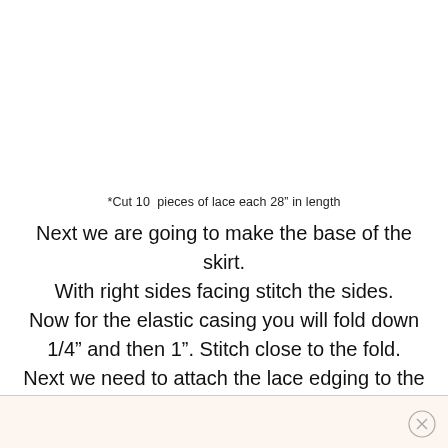*Cut 10  pieces of lace each 28" in length
Next we are going to make the base of the skirt. With right sides facing stitch the sides. Now for the elastic casing you will fold down 1/4" and then 1". Stitch close to the fold. Next we need to attach the lace edging to the strips of fabric.